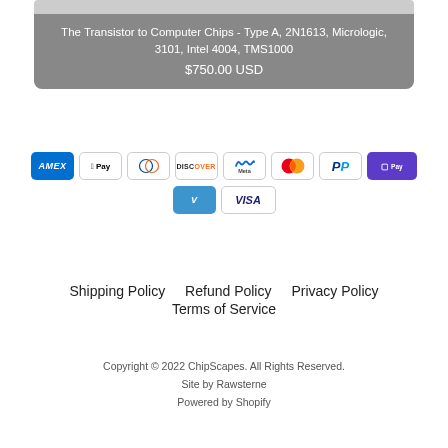The Transistor to Computer Chips - Type A, 2N1613, Micrologic, 3101, Intel 4004, TMS1000
$750.00 USD
[Figure (infographic): Row of payment method badges: American Express, Apple Pay, Diners Club, Discover, Meta Pay, Mastercard, PayPal, Shop Pay, Venmo, Visa]
Shipping Policy    Refund Policy    Privacy Policy
Terms of Service
Copyright © 2022 ChipScapes. All Rights Reserved.
Site by Rawsterne
Powered by Shopify